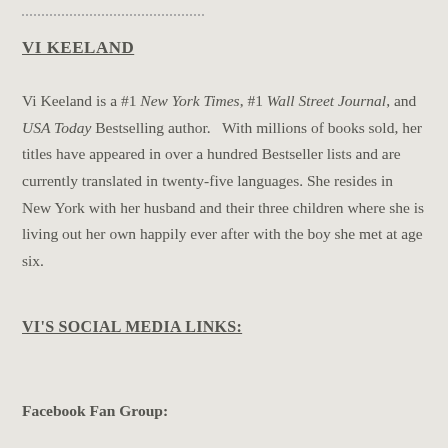VI KEELAND
Vi Keeland is a #1 New York Times, #1 Wall Street Journal, and USA Today Bestselling author.   With millions of books sold, her titles have appeared in over a hundred Bestseller lists and are currently translated in twenty-five languages. She resides in New York with her husband and their three children where she is living out her own happily ever after with the boy she met at age six.
VI'S SOCIAL MEDIA LINKS:
Facebook Fan Group: